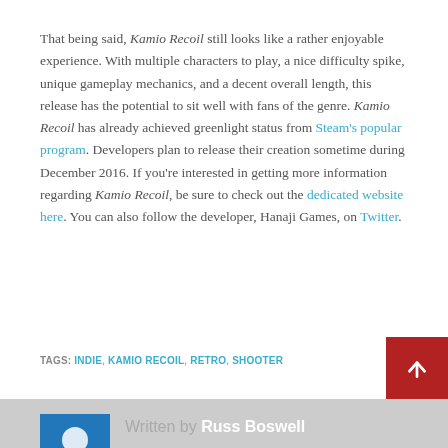That being said, Kamio Recoil still looks like a rather enjoyable experience. With multiple characters to play, a nice difficulty spike, unique gameplay mechanics, and a decent overall length, this release has the potential to sit well with fans of the genre. Kamio Recoil has already achieved greenlight status from Steam's popular program. Developers plan to release their creation sometime during December 2016. If you're interested in getting more information regarding Kamio Recoil, be sure to check out the dedicated website here. You can also follow the developer, Hanaji Games, on Twitter.
TAGS: INDIE, KAMIO RECOIL, RETRO, SHOOTER
Written by Russ Boswell